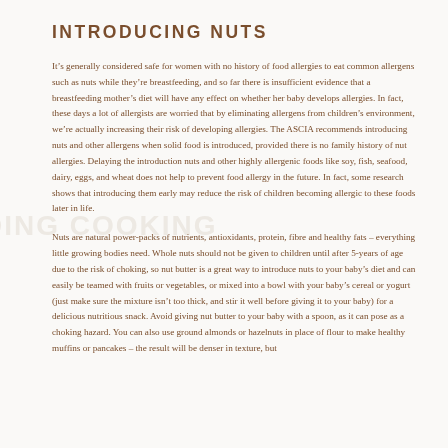INTRODUCING NUTS
It’s generally considered safe for women with no history of food allergies to eat common allergens such as nuts while they’re breastfeeding, and so far there is insufficient evidence that a breastfeeding mother’s diet will have any effect on whether her baby develops allergies. In fact, these days a lot of allergists are worried that by eliminating allergens from children’s environment, we’re actually increasing their risk of developing allergies. The ASCIA recommends introducing nuts and other allergens when solid food is introduced, provided there is no family history of nut allergies. Delaying the introduction nuts and other highly allergenic foods like soy, fish, seafood, dairy, eggs, and wheat does not help to prevent food allergy in the future. In fact, some research shows that introducing them early may reduce the risk of children becoming allergic to these foods later in life.
Nuts are natural power-packs of nutrients, antioxidants, protein, fibre and healthy fats – everything little growing bodies need. Whole nuts should not be given to children until after 5-years of age due to the risk of choking, so nut butter is a great way to introduce nuts to your baby’s diet and can easily be teamed with fruits or vegetables, or mixed into a bowl with your baby’s cereal or yogurt (just make sure the mixture isn’t too thick, and stir it well before giving it to your baby) for a delicious nutritious snack. Avoid giving nut butter to your baby with a spoon, as it can pose as a choking hazard. You can also use ground almonds or hazelnuts in place of flour to make healthy muffins or pancakes – the result will be denser in texture, but